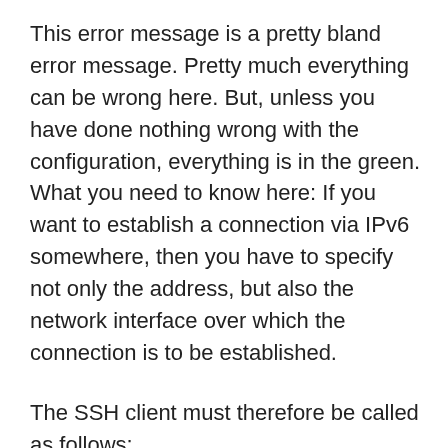This error message is a pretty bland error message. Pretty much everything can be wrong here. But, unless you have done nothing wrong with the configuration, everything is in the green. What you need to know here: If you want to establish a connection via IPv6 somewhere, then you have to specify not only the address, but also the network interface over which the connection is to be established.
The SSH client must therefore be called as follows: